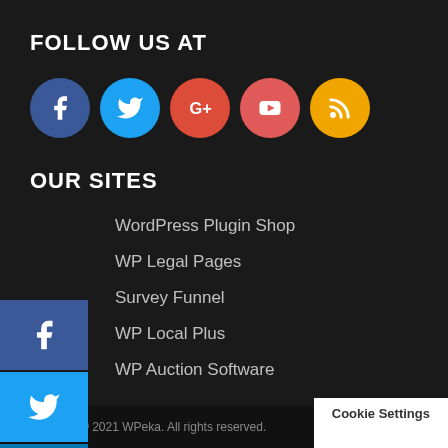FOLLOW US AT
[Figure (infographic): Row of 5 social media icon circles: Facebook (dark blue), Twitter (light blue), Google+ (red), YouTube (red-pink), RSS (orange/amber)]
OUR SITES
WordPress Plugin Shop
WP Legal Pages
Survey Funnel
WP Local Plus
WP Auction Software
[Figure (infographic): Left-edge social share sidebar with 4 buttons: Facebook (dark blue), Twitter (light blue), LinkedIn (dark blue), WhatsApp (green)]
© 2021 WPeka. All rights reserved.
Cookie Settings